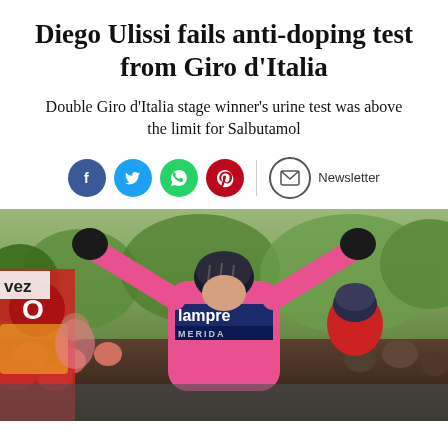Diego Ulissi fails anti-doping test from Giro d'Italia
Double Giro d'Italia stage winner's urine test was above the limit for Salbutamol
[Figure (infographic): Social sharing icons: Facebook (blue), Twitter (blue), WhatsApp (green), Pinterest (red), and a Newsletter button with envelope icon]
[Figure (photo): Cyclist Diego Ulissi in pink Lampre-Merida jersey celebrating a stage victory with arms raised, wearing a black helmet, at a cycling finish line. Crowds visible in background along with green trees and a red promotional flag.]